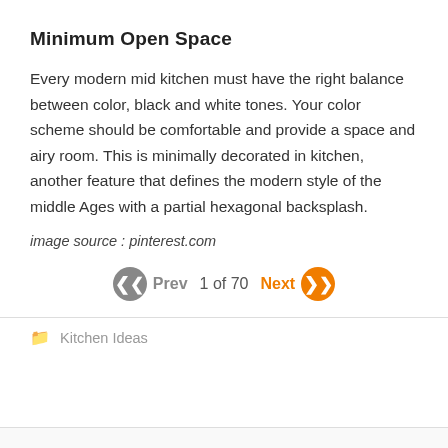Minimum Open Space
Every modern mid kitchen must have the right balance between color, black and white tones. Your color scheme should be comfortable and provide a space and airy room. This is minimally decorated in kitchen, another feature that defines the modern style of the middle Ages with a partial hexagonal backsplash.
image source : pinterest.com
Prev   1 of 70   Next
Kitchen Ideas